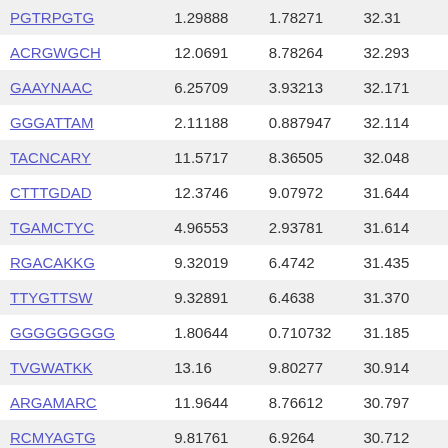| PGTRPGTG | 1.29888 | 1.78271 | 32.31... |
| ACRGWGCH | 12.0691 | 8.78264 | 32.293 |
| GAAYNAAC | 6.25709 | 3.93213 | 32.171 |
| GGGATTAM | 2.11188 | 0.887947 | 32.114 |
| TACNCARY | 11.5717 | 8.36505 | 32.048 |
| CTTTGDAD | 12.3746 | 9.07972 | 31.644 |
| TGAMCTYC | 4.96553 | 2.93781 | 31.614 |
| RGACAKKG | 9.32019 | 6.4742 | 31.435 |
| TTYGTTSW | 9.32891 | 6.4638 | 31.370 |
| GGGGGGGGG | 1.80644 | 0.710732 | 31.185 |
| TVGWATKK | 13.16 | 9.80277 | 30.914 |
| ARGAMARC | 11.9644 | 8.76612 | 30.797 |
| RCMYAGTG | 9.81761 | 6.9264 | 30.712 |
| GRGGGRGGG | 1.88156 | 0.418665 | 30.4... |